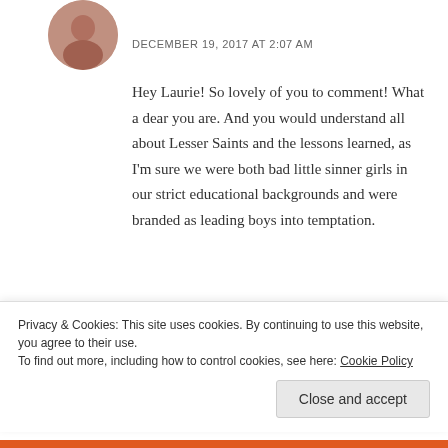[Figure (photo): Circular avatar photo of a woman]
DECEMBER 19, 2017 AT 2:07 AM
Hey Laurie! So lovely of you to comment! What a dear you are. And you would understand all about Lesser Saints and the lessons learned, as I'm sure we were both bad little sinner girls in our strict educational backgrounds and were branded as leading boys into temptation.
It’s been ages and I really would like to get
Privacy & Cookies: This site uses cookies. By continuing to use this website, you agree to their use.
To find out more, including how to control cookies, see here: Cookie Policy
Close and accept